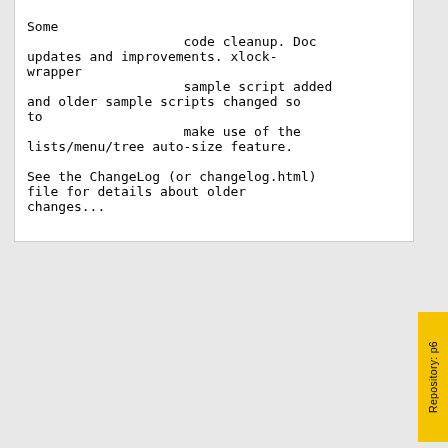Some
                    code cleanup. Doc updates and improvements. xlock-wrapper
                    sample script added and older sample scripts changed so to
                    make use of the lists/menu/tree auto-size feature.

See the ChangeLog (or changelog.html) file for details about older changes...
VKontakte | Telegram | YouTube | Forum | GitHub | Bugzilla